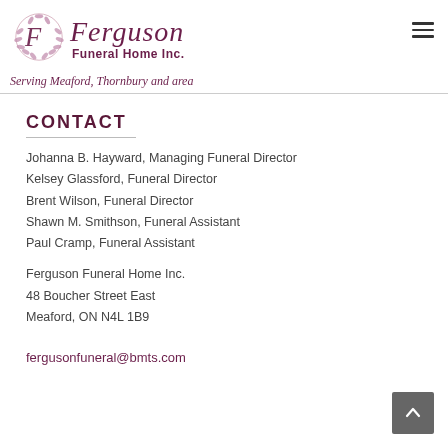[Figure (logo): Ferguson Funeral Home Inc. logo with decorative wreath/leaf motif in purple/mauve, script-style 'Ferguson' text and 'Funeral Home Inc.' subtitle]
Serving Meaford, Thornbury and area
CONTACT
Johanna B. Hayward, Managing Funeral Director
Kelsey Glassford, Funeral Director
Brent Wilson, Funeral Director
Shawn M. Smithson, Funeral Assistant
Paul Cramp, Funeral Assistant
Ferguson Funeral Home Inc.
48 Boucher Street East
Meaford, ON N4L 1B9
fergusonfuneral@bmts.com